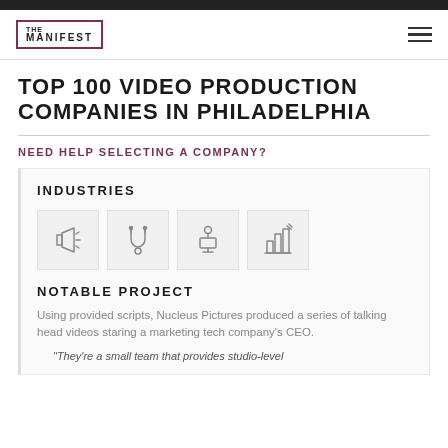THE MANIFEST
TOP 100 VIDEO PRODUCTION COMPANIES IN PHILADELPHIA
NEED HELP SELECTING A COMPANY?
INDUSTRIES
[Figure (illustration): Four industry icons in boxes: megaphone/advertising, stethoscope/healthcare, presenter/government or speaking, bar chart/finance]
NOTABLE PROJECT
Using provided scripts, Nucleus Pictures produced a series of talking head videos staring a marketing tech company's CEO.
"They're a small team that provides studio-level